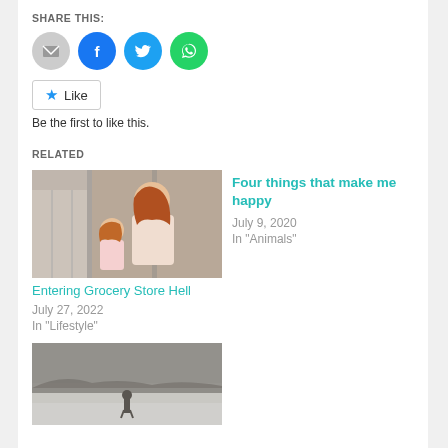SHARE THIS:
[Figure (other): Social sharing icons: email (grey circle), Facebook (blue circle), Twitter (light blue circle), WhatsApp (green circle)]
Like  Be the first to like this.
RELATED
[Figure (photo): Photo of a woman and child looking at a store display, woman with long red hair in pink jacket]
Entering Grocery Store Hell
July 27, 2022
In "Lifestyle"
Four things that make me happy
July 9, 2020
In "Animals"
[Figure (photo): Foggy dark landscape with silhouette of a person walking in mist]